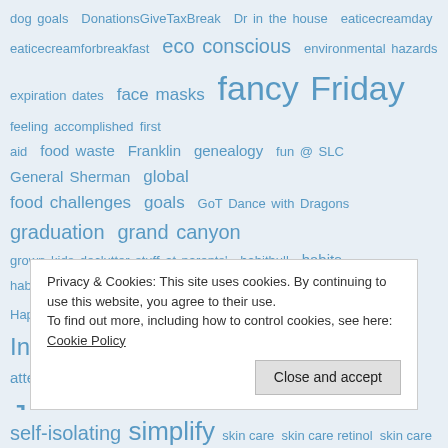dog goals DonationsGiveTaxBreak Dr in the house eaticecreamday eaticecreamforbreakfast eco conscious environmental hazards expiration dates face masks fancy Friday feeling accomplished first aid food waste Franklin genealogy fun @ SLC General Sherman global food challenges goals GoT Dance with Dragons graduation grand canyon grown kids declutter stuff at parents' habitbull habits habit tracker apps Happy Hour Hawaii headstones Hot tea month Instant Pot instant pot attempts Isolation Movies iwatch July Challenge kansas keep it AND use it keys Las Vegas Hotel less shopping LivewithLess Living Desert minimalism MinimalistSometimes monthly update more free time Mother's Day motorhome life movies mysteries of life in an RV
Privacy & Cookies: This site uses cookies. By continuing to use this website, you agree to their use. To find out more, including how to control cookies, see here: Cookie Policy
Close and accept
self-isolating simplify skin care skin care retinol skin care